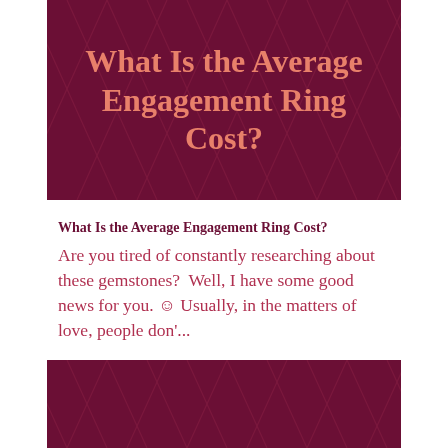[Figure (illustration): Dark burgundy/maroon banner with diamond pattern overlay and large title text 'What Is the Average Engagement Ring Cost?' in salmon/coral color]
What Is the Average Engagement Ring Cost?
Are you tired of constantly researching about these gemstones?  Well, I have some good news for you. ☺ Usually, in the matters of love, people don'...
READ MORE
[Figure (illustration): Dark burgundy/maroon banner with diamond pattern overlay at bottom of page]